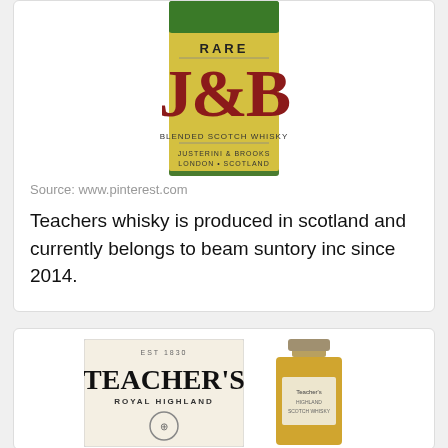[Figure (photo): J&B Rare Scotch Whisky bottle with yellow-green label showing 'RARE J&B' in large red letters]
Source: www.pinterest.com
Teachers whisky is produced in scotland and currently belongs to beam suntory inc since 2014.
[Figure (photo): Teacher's Royal Highland Scotch Whisky label and bottle side by side]